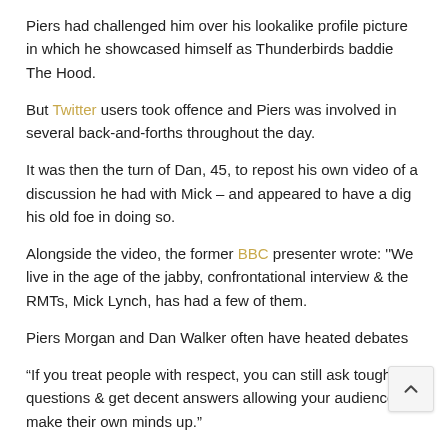Piers had challenged him over his lookalike profile picture in which he showcased himself as Thunderbirds baddie The Hood.
But Twitter users took offence and Piers was involved in several back-and-forths throughout the day.
It was then the turn of Dan, 45, to repost his own video of a discussion he had with Mick – and appeared to have a dig his old foe in doing so.
Alongside the video, the former BBC presenter wrote: ''We live in the age of the jabby, confrontational interview & the RMTs, Mick Lynch, has had a few of them.
Piers Morgan and Dan Walker often have heated debates
"If you treat people with respect, you can still ask tough questions & get decent answers allowing your audience to make their own minds up."